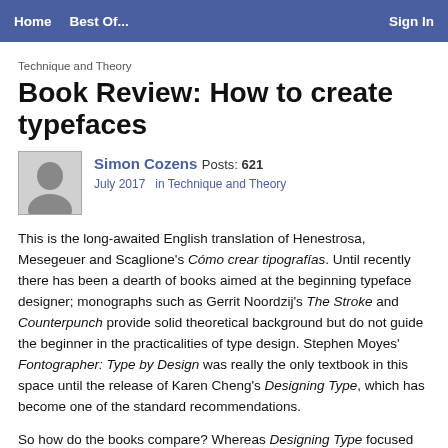Home   Best Of...   Sign In
Technique and Theory
Book Review: How to create typefaces
Simon Cozens Posts: 621
July 2017   in Technique and Theory
This is the long-awaited English translation of Henestrosa, Mesegeuer and Scaglione's Cómo crear tipografías. Until recently there has been a dearth of books aimed at the beginning typeface designer; monographs such as Gerrit Noordzij's The Stroke and Counterpunch provide solid theoretical background but do not guide the beginner in the practicalities of type design. Stephen Moyes' Fontographer: Type by Design was really the only textbook in this space until the release of Karen Cheng's Designing Type, which has become one of the standard recommendations.
So how do the books compare? Whereas Designing Type focused on the proportions and characteristics of typical serif and sans